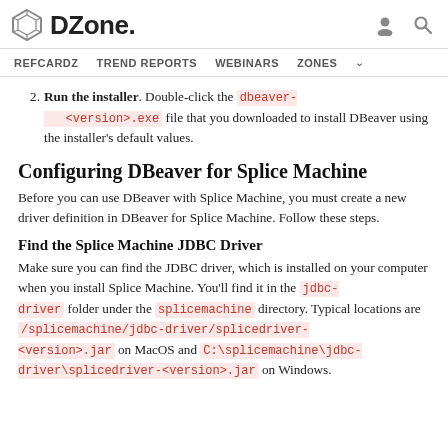DZone. [logo] [user icon] [search icon]
REFCARDZ  TREND REPORTS  WEBINARS  ZONES
2. Run the installer. Double-click the dbeaver-<version>.exe file that you downloaded to install DBeaver using the installer's default values.
Configuring DBeaver for Splice Machine
Before you can use DBeaver with Splice Machine, you must create a new driver definition in DBeaver for Splice Machine. Follow these steps.
Find the Splice Machine JDBC Driver
Make sure you can find the JDBC driver, which is installed on your computer when you install Splice Machine. You’ll find it in the jdbc-driver folder under the splicemachine directory. Typical locations are /splicemachine/jdbc-driver/splicedriver-<version>.jar on MacOS and C:\splicemachine\jdbc-driver\splicedriver-<version>.jar on Windows.